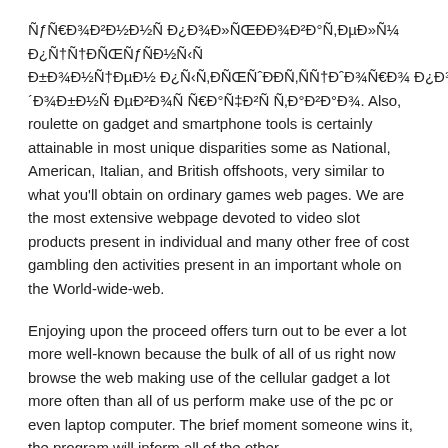ÑƒÑ€Ð¾Ð²Ð¼Ð½Ñ Ð¿Ð¾Ð»ÑŒÐÐ¾Ð²Ð°Ñ,ÐµÐ»Ñ Ð¼ Ð¿Ñ†Ð°Ð½Ñ,ÑÑŒ Ð±Ð¾Ð½ÑƒÑÐ½Ñ‹Ñ… Ð±Ð°Ð½Ñ†ÐµÐ½ Ð² Ð±Ñ†ÐÑƒÑ Ð¿Ð¾Ð´Ð¾Ð±Ð½Ñ ÐµÐ²Ð¾Ñ Ñ†ÐµÐ»Ð²Ñ Ð¿Ñ‹Ñ‚ÐµÐ½Ñ†Ñ...ÑÑ,Ð°Ð²Ð°Ð¾. Also, roulette on gadget and smartphone tools is certainly attainable in most unique disparities some as National, American, Italian, and British offshoots, very similar to what you'll obtain on ordinary games web pages. We are the most extensive webpage devoted to video slot products present in individual and many other free of cost gambling den activities present in an important whole on the World-wide-web.
Enjoying upon the proceed offers turn out to be ever a lot more well-known because the bulk of all of us right now browse the web making use of the cellular gadget a lot more often than all of us perform make use of the pc or even laptop computer. The brief moment someone wins it, the program will inform all of the other